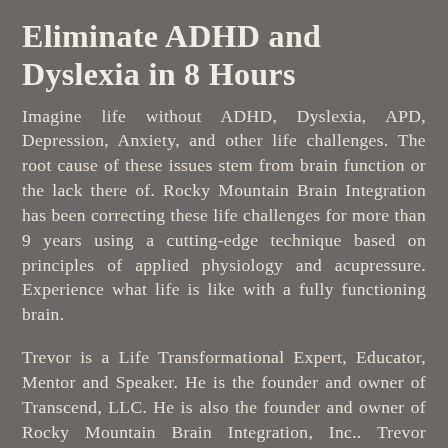Eliminate ADHD and Dyslexia in 8 Hours
Imagine life without ADHD, Dyslexia, APD, Depression, Anxiety, and other life challenges. The root cause of these issues stem from brain function or the lack there of. Rocky Mountain Brain Integration has been correcting these life challenges for more than 9 years using a cutting-edge technique based on principles of applied physiology and acupressure. Experience what life is like with a fully functioning brain.
Trevor is a Life Transformational Expert, Educator, Mentor and Speaker. He is the founder and owner of Transcend, LLC. He is also the founder and owner of Rocky Mountain Brain Integration, Inc.. Trevor graduated from Weber State University with his degree in Child and Family Studies and Psychology. He